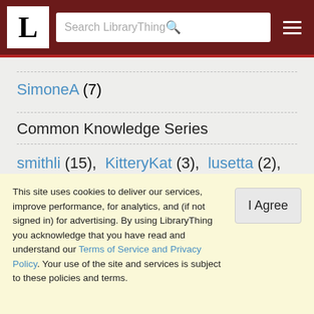L — Search LibraryThing
SimoneA (7)
Common Knowledge Series
smithli (15), KitteryKat (3), lusetta (2), Stitchaholic (2), wisemetis (1), SimoneA (1), reinadegoddess (1), LesaHolstine (1)
This site uses cookies to deliver our services, improve performance, for analytics, and (if not signed in) for advertising. By using LibraryThing you acknowledge that you have read and understand our Terms of Service and Privacy Policy. Your use of the site and services is subject to these policies and terms.